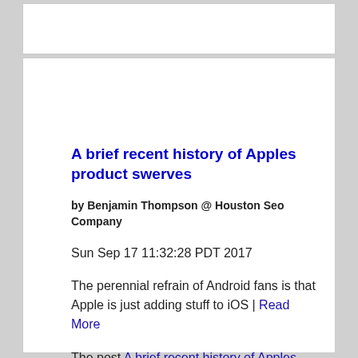A brief recent history of Apples product swerves
by Benjamin Thompson @ Houston Seo Company
Sun Sep 17 11:32:28 PDT 2017
The perennial refrain of Android fans is that Apple is just adding stuff to iOS | Read More
The post A brief recent history of Apples product swerves appeared first on Houston Seo Company.